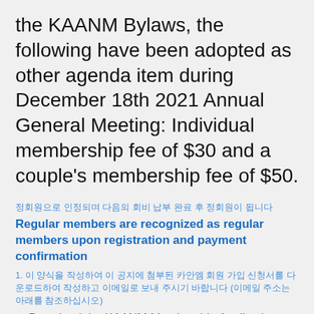the KAANM Bylaws, the following have been adopted as other agenda item during December 18th 2021 Annual General Meeting: Individual membership fee of $30 and a couple's membership fee of $50.
[Korean text - small line]
Regular members are recognized as regular members upon registration and payment confirmation
1. [Korean text] (Korean text)
Download the KAANM Membership Application form attached to this notice, fill it out, and send it by